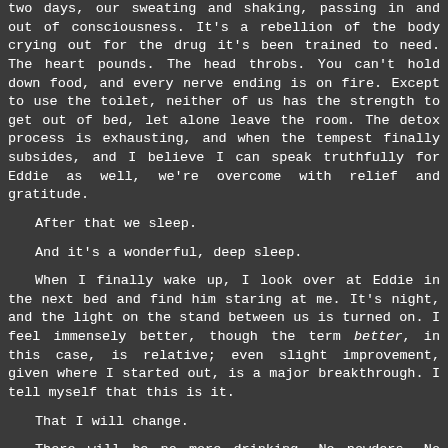two days, our sweating and shaking, passing in and out of consciousness. It's a rebellion of the body crying out for the drug it's been trained to need. The heart pounds. The head throbs. You can't hold down food, and every nerve ending is on fire. Except to use the toilet, neither of us has the strength to get out of bed, let alone leave the room. The detox process is exhausting, and when the tempest finally subsides, and I believe I can speak truthfully for Eddie as well, we're overcome with relief and gratitude.
After that we sleep.
And it's a wonderful, deep sleep.
When I finally wake up, I look over at Eddie in the next bed and find him staring at me. It's night, and the light on the stand between us is turned on. I feel immensely better, though the term better, in this case, is relative; even slight improvement, given where I started out, is a major breakthrough. I tell myself that this is it.
That I will change.
There will be no more drinking. No powders. No pills. No potions. From this day on I will make my first earnest, and hopefully last, attempt to put it all behind me, finally and